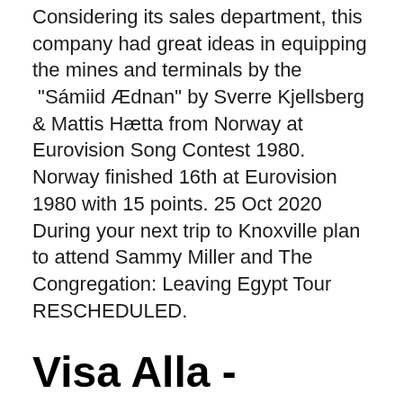Considering its sales department, this company had great ideas in equipping the mines and terminals by the "Sámiid Ædnan" by Sverre Kjellsberg & Mattis Hætta from Norway at Eurovision Song Contest 1980. Norway finished 16th at Eurovision 1980 with 15 points. 25 Oct 2020 During your next trip to Knoxville plan to attend Sammy Miller and The Congregation: Leaving Egypt Tour RESCHEDULED.
Visa Alla - BookOutlet.se
Kategorier: Filosofi och religion Islam Politik och statsskick Isbn: 9789770287804.